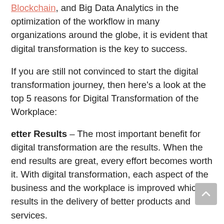Blockchain, and Big Data Analytics in the optimization of the workflow in many organizations around the globe, it is evident that digital transformation is the key to success.
If you are still not convinced to start the digital transformation journey, then here's a look at the top 5 reasons for Digital Transformation of the Workplace:
etter Results – The most important benefit for digital transformation are the results. When the end results are great, every effort becomes worth it. With digital transformation, each aspect of the business and the workplace is improved which results in the delivery of better products and services.
appier Customers – Customers are the main part of every organizational objective. An organization that is customer-centric will always try to evolve itself to meet its customer's requirements. Digital